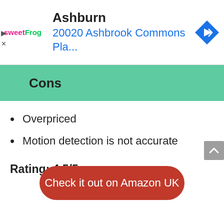[Figure (screenshot): Advertisement banner showing sweetFrog logo, 'Ashburn' city name, '20020 Ashbrook Commons Pla...' address in blue, and a blue navigation diamond icon on the right.]
Cons
Overpriced
Motion detection is not accurate
Rating: 4.5/5
Check it out on Amazon UK